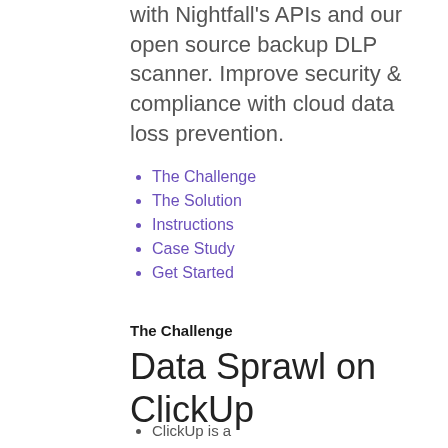with Nightfall's APIs and our open source backup DLP scanner. Improve security & compliance with cloud data loss prevention.
The Challenge
The Solution
Instructions
Case Study
Get Started
The Challenge
Data Sprawl on ClickUp
ClickUp is a